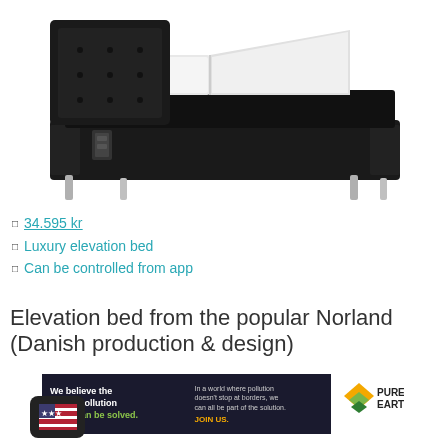[Figure (photo): Black luxury elevation bed with adjustable headrest sections, upholstered in dark fabric, with chrome metal legs, shown at an angle on white background]
34.595 kr
Luxury elevation bed
Can be controlled from app
Elevation bed from the popular Norland (Danish production & design)
[Figure (infographic): Pure Earth advertisement banner: 'We believe the global pollution crisis can be solved.' with green text, set against dark background, with Pure Earth logo on right side]
[Figure (photo): US flag icon on dark rounded square background, partially visible at bottom]